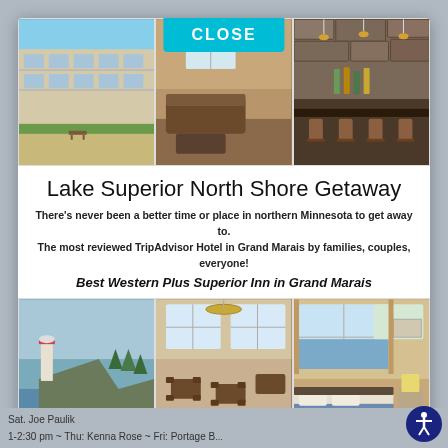[Figure (photo): Three hotel exterior and interior photos in a grid: left shows hotel exterior with sandy beach and green lawn, center shows hotel lounge with brown sofas and a teal CLOSE button overlay, right shows hotel bar with stone wall and bar stools]
Lake Superior North Shore Getaway
There's never been a better time or place in northern Minnesota to get away to.
The most reviewed TripAdvisor Hotel in Grand Marais by families, couples, everyone!
Best Western Plus Superior Inn in Grand Marais
[Figure (photo): Three hotel amenity photos in a grid: left shows rocky cliff with lighthouse and lake, center shows hotel dining room with tables and chairs, right shows hotel room with large windows overlooking water and a made bed]
Sat. Joe Paulik
1-2:30 pm ~ Thu: Kenna Rose ~ Fri: Portage B...